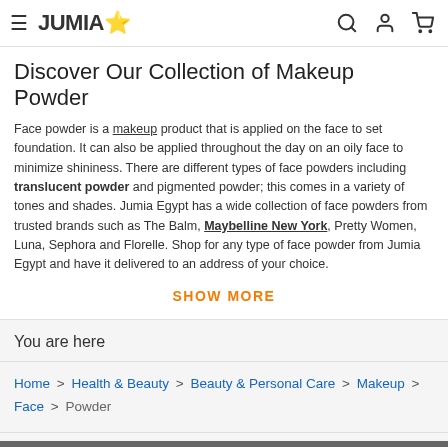JUMIA ☆
Discover Our Collection of Makeup Powder
Face powder is a makeup product that is applied on the face to set foundation. It can also be applied throughout the day on an oily face to minimize shininess. There are different types of face powders including translucent powder and pigmented powder; this comes in a variety of tones and shades. Jumia Egypt has a wide collection of face powders from trusted brands such as The Balm, Maybelline New York, Pretty Women, Luna, Sephora and Florelle. Shop for any type of face powder from Jumia Egypt and have it delivered to an address of your choice.
SHOW MORE
You are here
Home > Health & Beauty > Beauty & Personal Care > Makeup > Face > Powder
This website uses cookies. For further information on how we use cookies you can read our Privacy and Cookie notice